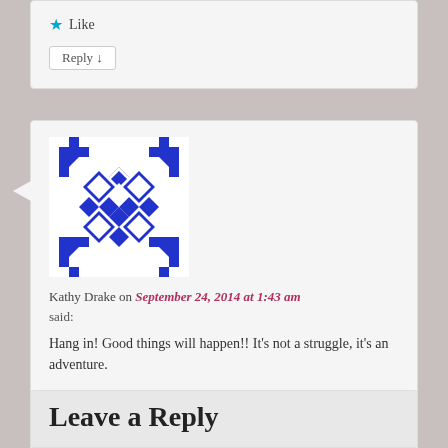★ Like
Reply ↓
[Figure (illustration): Blue geometric/mosaic avatar icon for user Kathy Drake]
Kathy Drake on September 24, 2014 at 1:43 am said:
Hang in! Good things will happen!! It's not a struggle, it's an adventure.
★ Like
Reply ↓
Leave a Reply